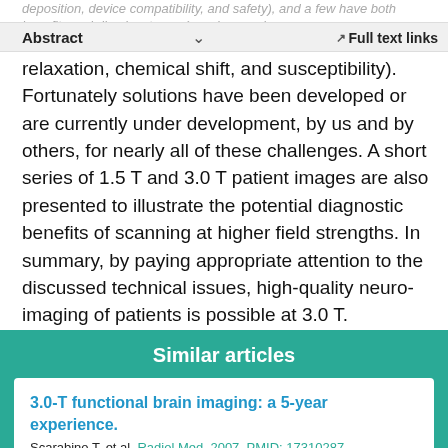Abstract | Full text links
relaxation, chemical shift, and susceptibility). Fortunately solutions have been developed or are currently under development, by us and by others, for nearly all of these challenges. A short series of 1.5 T and 3.0 T patient images are also presented to illustrate the potential diagnostic benefits of scanning at higher field strengths. In summary, by paying appropriate attention to the discussed technical issues, high-quality neuro-imaging of patients is possible at 3.0 T.
Similar articles
3.0-T functional brain imaging: a 5-year experience.
Scarabino T, et al. Radiol Med. 2007. PMID: 17310287 English, Italian.